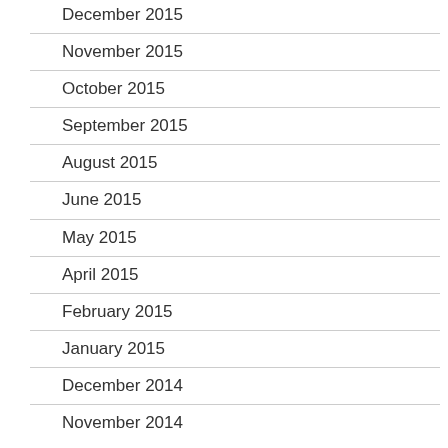December 2015
November 2015
October 2015
September 2015
August 2015
June 2015
May 2015
April 2015
February 2015
January 2015
December 2014
November 2014